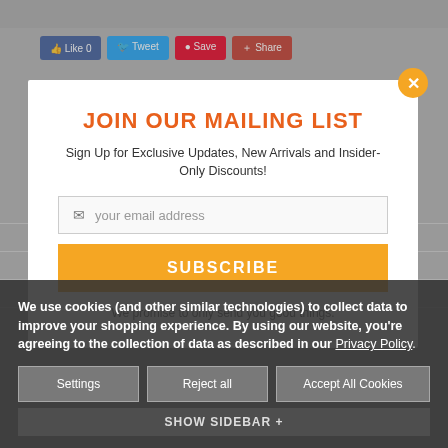[Figure (screenshot): Website background with social share buttons (Like, Tweet, Save, Share) and faded navigation tabs (Description, Specifications, Product Reviews, Warranty Information)]
JOIN OUR MAILING LIST
Sign Up for Exclusive Updates, New Arrivals and Insider-Only Discounts!
your email address
SUBSCRIBE
We promise to only send you good things.
Polycom Trio 8800 Collaboration Kit -
We use cookies (and other similar technologies) to collect data to improve your shopping experience. By using our website, you're agreeing to the collection of data as described in our Privacy Policy.
Settings
Reject all
Accept All Cookies
SHOW SIDEBAR +